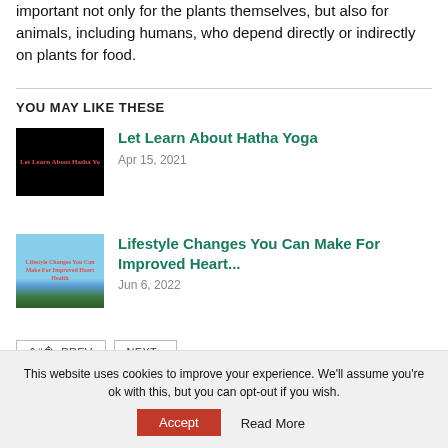important not only for the plants themselves, but also for animals, including humans, who depend directly or indirectly on plants for food.
YOU MAY LIKE THESE
[Figure (photo): Black background thumbnail with red text 'Let Learn About Hatha Yoga']
Let Learn About Hatha Yoga
Apr 15, 2021
[Figure (photo): Thumbnail with blue sky, trees, and red overlay text 'Lifestyle Changes You Can Make For Improved Heart Health']
Lifestyle Changes You Can Make For Improved Heart...
Jun 6, 2022
‹ PREV   NEXT ›
This website uses cookies to improve your experience. We'll assume you're ok with this, but you can opt-out if you wish.
Accept   Read More